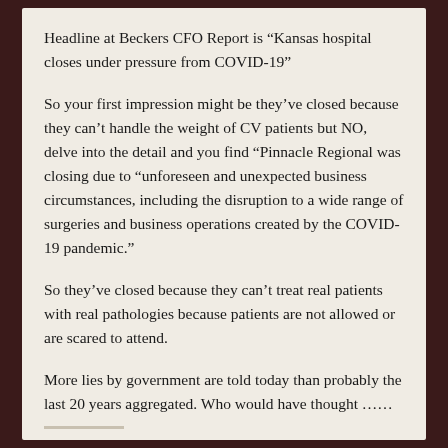Headline at Beckers CFO Report is “Kansas hospital closes under pressure from COVID-19”
So your first impression might be they’ve closed because they can’t handle the weight of CV patients but NO, delve into the detail and you find “Pinnacle Regional was closing due to “unforeseen and unexpected business circumstances, including the disruption to a wide range of surgeries and business operations created by the COVID-19 pandemic.”
So they’ve closed because they can’t treat real patients with real pathologies because patients are not allowed or are scared to attend.
More lies by government are told today than probably the last 20 years aggregated. Who would have thought ……